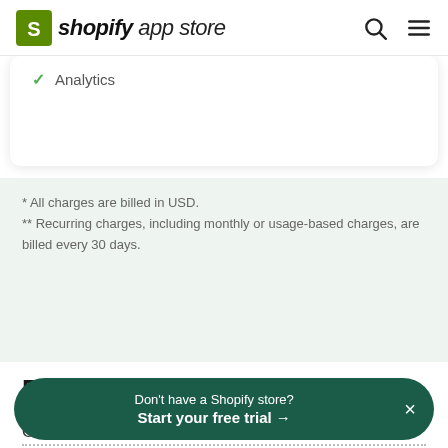shopify app store
Analytics
* All charges are billed in USD.
** Recurring charges, including monthly or usage-based charges, are billed every 30 days.
Reviews
Overall rating ★ 4.1
Don't have a Shopify store? Start your free trial →